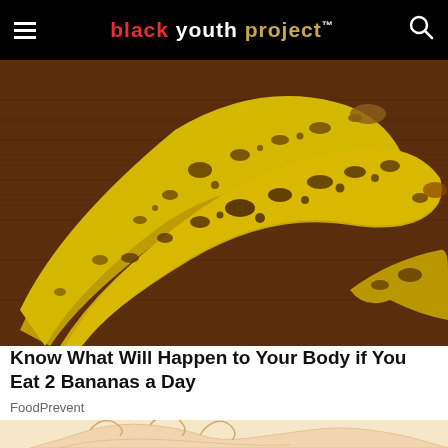black youth project™
[Figure (photo): Three overripe spotted bananas with heavy brown spotting on yellow skin, lying on a dark wooden surface]
Know What Will Happen to Your Body if You Eat 2 Bananas a Day
FoodPrevent
[Figure (illustration): Partial view of a hand illustration on a light beige background, bottom of page]